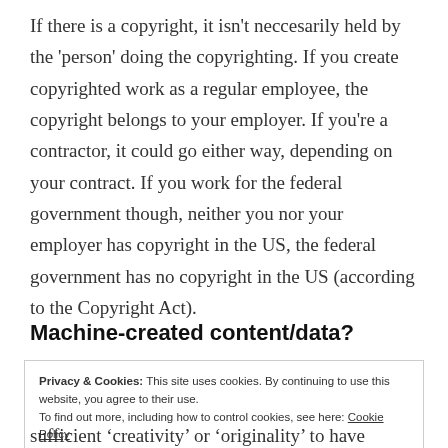If there is a copyright, it isn't neccesarily held by the 'person' doing the copyrighting. If you create copyrighted work as a regular employee, the copyright belongs to your employer. If you're a contractor, it could go either way, depending on your contract. If you work for the federal government though, neither you nor your employer has copyright in the US, the federal government has no copyright in the US (according to the Copyright Act).
Machine-created content/data?
Privacy & Cookies: This site uses cookies. By continuing to use this website, you agree to their use.
To find out more, including how to control cookies, see here: Cookie Policy
[Close and accept]
sufficient 'creativity' or 'originality' to have copyright